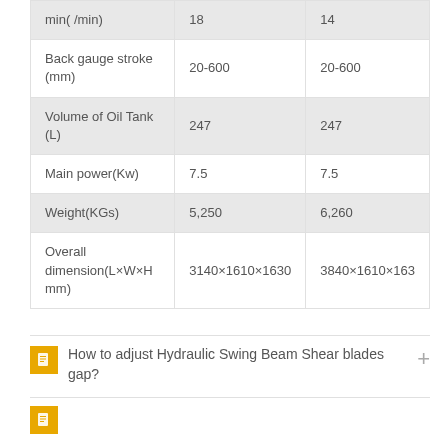|  |  |  |
| --- | --- | --- |
| min( /min) | 18 | 14 |
| Back gauge stroke (mm) | 20-600 | 20-600 |
| Volume of Oil Tank (L) | 247 | 247 |
| Main power(Kw) | 7.5 | 7.5 |
| Weight(KGs) | 5,250 | 6,260 |
| Overall dimension(L×W×H mm) | 3140×1610×1630 | 3840×1610×163 |
How to adjust Hydraulic Swing Beam Shear blades gap?